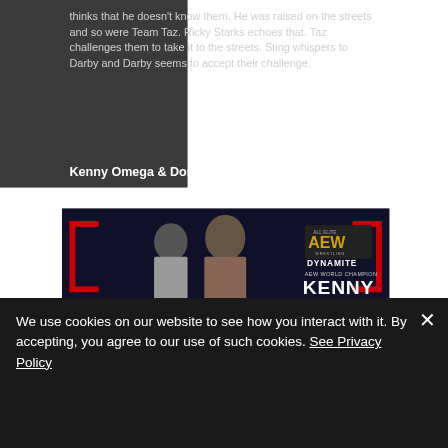thinks that he doesn’t know them. He was raised on the streets and so were Team Taz. Ricky Starks echoes that. Taz challenges them to take it to the streets. Sting whispers to Darby and Darby seems to accept their challenge.
Kenny Omega & Don Callis Speak
[Figure (photo): AEW Dynamite promotional image showing Don Callis and Kenny Omega (AEW World Champion) with the AEW logo and text reading DYNAMITE, AEW WORLD CHAMPION, KENNY]
We use cookies on our website to see how you interact with it. By accepting, you agree to our use of such cookies. See Privacy Policy
Cookie Settings
Accept